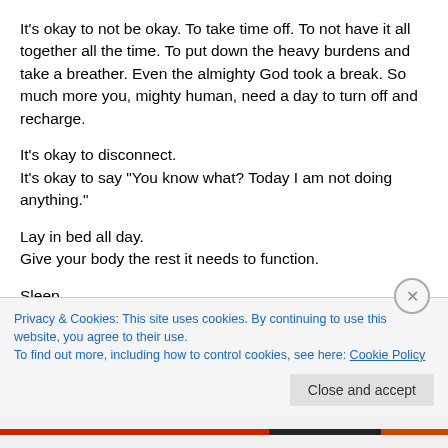It's okay to not be okay. To take time off. To not have it all together all the time. To put down the heavy burdens and take a breather. Even the almighty God took a break. So much more you, mighty human, need a day to turn off and recharge.
It's okay to disconnect.
It's okay to say "You know what? Today I am not doing anything."
Lay in bed all day.
Give your body the rest it needs to function.
Sleep.
Let your mind have time to slow down and recharge
Privacy & Cookies: This site uses cookies. By continuing to use this website, you agree to their use.
To find out more, including how to control cookies, see here: Cookie Policy
Close and accept